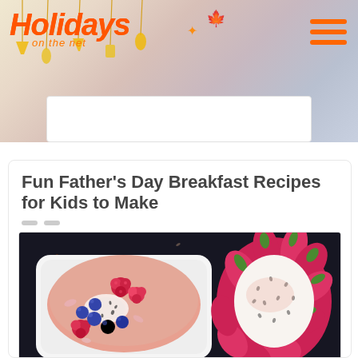Holidays on the net
[Figure (illustration): White rectangular bowl containing a pink smoothie topped with raspberries, blueberries, and dragon fruit slices. A whole pink dragon fruit is visible on the right side, all on a dark background.]
Fun Father's Day Breakfast Recipes for Kids to Make